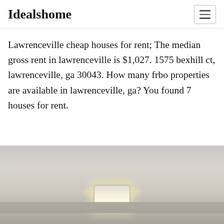Idealshome
Lawrenceville cheap houses for rent; The median gross rent in lawrenceville is $1,027. 1575 bexhill ct, lawrenceville, ga 30043. How many frbo properties are available in lawrenceville, ga? You found 7 houses for rent.
[Figure (photo): Photo of an interior ceiling with a square flush-mount light fixture illuminated, casting a warm glow on a light grey/beige ceiling.]